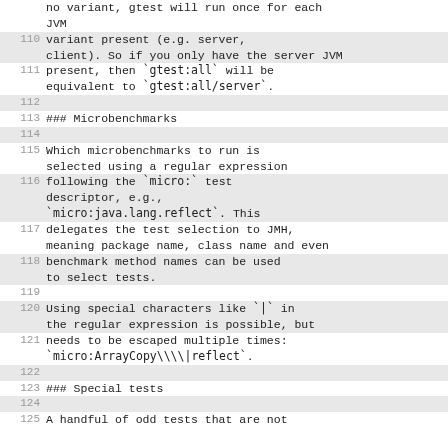no variant, gtest will run once for each JVM
110  variant present (e.g. server, client). So if you only have the server JVM
111  present, then `gtest:all` will be equivalent to `gtest:all/server`.
112
113  ### Microbenchmarks
114
115  Which microbenchmarks to run is selected using a regular expression
116  following the `micro:` test descriptor, e.g., `micro:java.lang.reflect`. This
117  delegates the test selection to JMH, meaning package name, class name and even
118  benchmark method names can be used to select tests.
119
120  Using special characters like `|` in the regular expression is possible, but
121  needs to be escaped multiple times: `micro:ArrayCopy\\\|reflect`.
122
123  ### Special tests
124
125  A handful of odd tests that are not